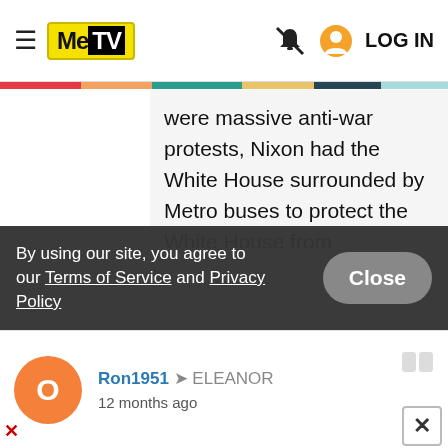MeTV — LOG IN
were massive anti-war protests, Nixon had the White House surrounded by Metro buses to protect the White House from protesters. Some men were burning their draft cards. Nobody even knew why we were over there. And it was a television war, as there was the body count on the nightly news. And then there was MASH. The humor was spot on.
By using our site, you agree to our Terms of Service and Privacy Policy
Ron1951 → ELEANOR
12 months ago